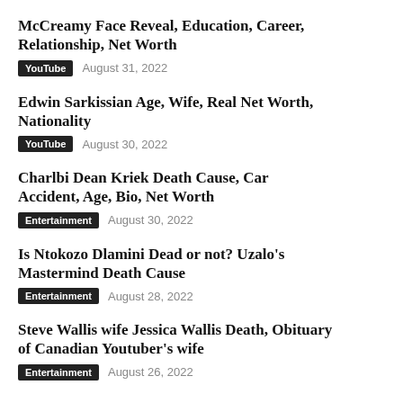McCreamy Face Reveal, Education, Career, Relationship, Net Worth
YouTube  August 31, 2022
Edwin Sarkissian Age, Wife, Real Net Worth, Nationality
YouTube  August 30, 2022
Charlbi Dean Kriek Death Cause, Car Accident, Age, Bio, Net Worth
Entertainment  August 30, 2022
Is Ntokozo Dlamini Dead or not? Uzalo's Mastermind Death Cause
Entertainment  August 28, 2022
Steve Wallis wife Jessica Wallis Death, Obituary of Canadian Youtuber's wife
Entertainment  August 26, 2022